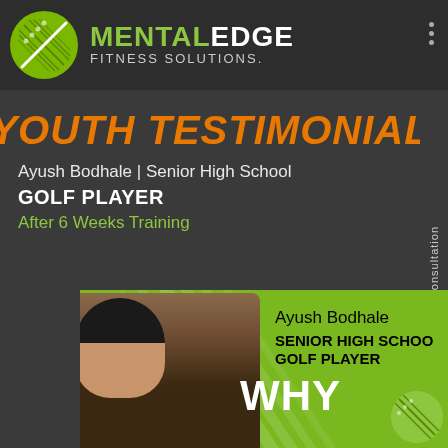[Figure (logo): Mental Edge Fitness Solutions logo with green circular icon and white/green text]
YOUTH TESTIMONIAL
Ayush Bodhale | Senior High School
GOLF PLAYER
After 6 Weeks Training
Free Consultation
[Figure (photo): Photo of Ayush Bodhale with overlaid text: Ayush Bodhale, SENIOR HIGH SCHOOL GOLF PLAYER, WHY]